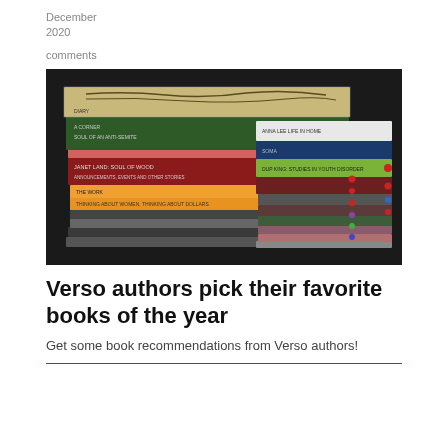December
2020
comments
[Figure (photo): Two stacks of books photographed from the side showing their spines, on a dark surface. Books include various titles with colorful spines in green, red, orange, grey, and dark tones.]
Verso authors pick their favorite books of the year
Get some book recommendations from Verso authors!